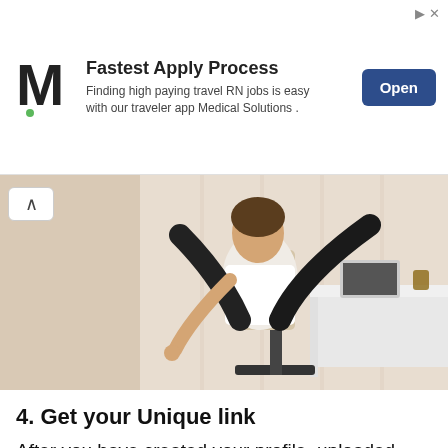[Figure (infographic): Advertisement banner for Medical Solutions showing M logo, 'Fastest Apply Process' headline, subtitle text about travel RN jobs, and an Open button]
[Figure (photo): Person in office setting sitting in ergonomic chair with legs raised, white top and dark pants, desk with laptop in background]
4. Get your Unique link
After you have created your profile, uploaded your content, and set your price, Instafeet will send your unique link.